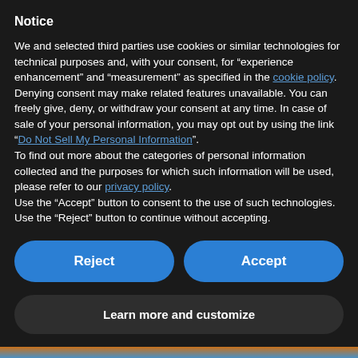Notice
We and selected third parties use cookies or similar technologies for technical purposes and, with your consent, for “experience enhancement” and “measurement” as specified in the cookie policy. Denying consent may make related features unavailable. You can freely give, deny, or withdraw your consent at any time. In case of sale of your personal information, you may opt out by using the link “Do Not Sell My Personal Information”.
To find out more about the categories of personal information collected and the purposes for which such information will be used, please refer to our privacy policy.
Use the “Accept” button to consent to the use of such technologies. Use the “Reject” button to continue without accepting.
Reject
Accept
Learn more and customize